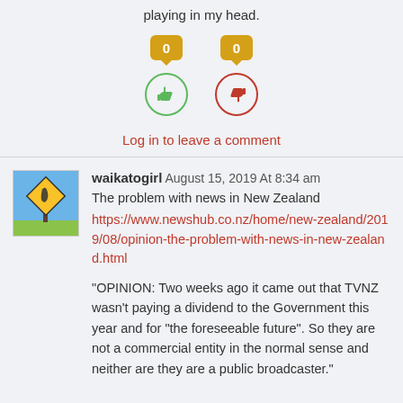playing in my head.
[Figure (infographic): Vote buttons: two yellow speech-bubble badges showing '0', with a green thumbs-up circle and a red thumbs-down circle below them.]
Log in to leave a comment
waikatogirl August 15, 2019 At 8:34 am
The problem with news in New Zealand https://www.newshub.co.nz/home/new-zealand/2019/08/opinion-the-problem-with-news-in-new-zealand.html
"OPINION: Two weeks ago it came out that TVNZ wasn’t paying a dividend to the Government this year and for “the foreseeable future”. So they are not a commercial entity in the normal sense and neither are they are a public broadcaster."